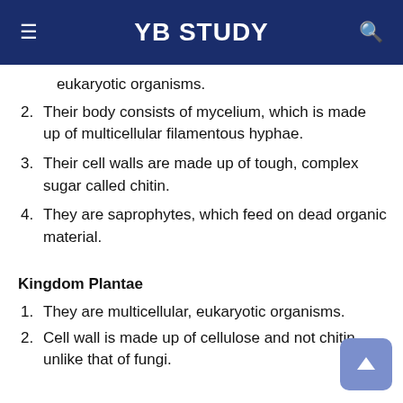YB STUDY
eukaryotic organisms.
Their body consists of mycelium, which is made up of multicellular filamentous hyphae.
Their cell walls are made up of tough, complex sugar called chitin.
They are saprophytes, which feed on dead organic material.
Kingdom Plantae
They are multicellular, eukaryotic organisms.
Cell wall is made up of cellulose and not chitin unlike that of fungi.